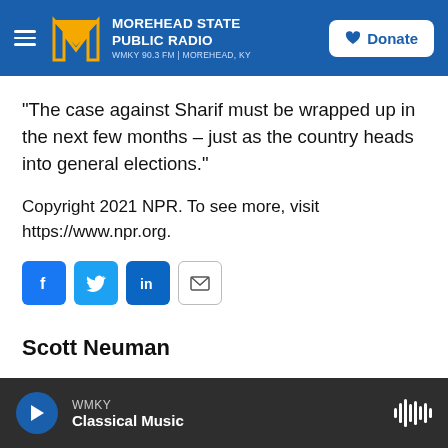MOREHEAD STATE PUBLIC RADIO — WMKY 90.3 FM | MOREHEAD, KY
"The case against Sharif must be wrapped up in the next few months – just as the country heads into general elections."
Copyright 2021 NPR. To see more, visit https://www.npr.org.
[Figure (infographic): Social sharing icons: Facebook, Twitter, LinkedIn, Email]
Scott Neuman
WMKY Classical Music — player bar